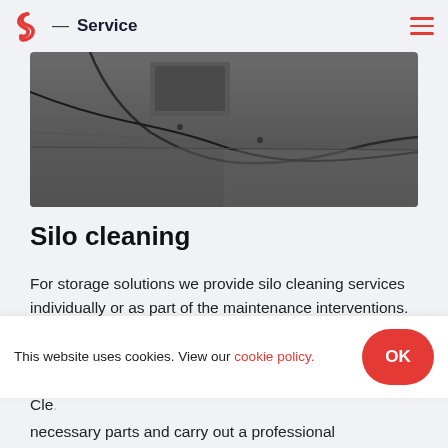S — Service
[Figure (photo): Black and white photo of industrial silo interior floor with hoses/cables visible]
Silo cleaning
For storage solutions we provide silo cleaning services individually or as part of the maintenance interventions. We ensure the complete maintenance of your silo and not just the cleaning of th...
This website uses cookies. View our cookie policy.
Cle...
necessary parts and carry out a professional